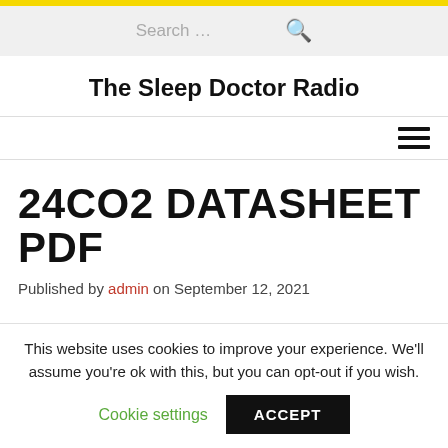The Sleep Doctor Radio
24CO2 DATASHEET PDF
Published by admin on September 12, 2021
This website uses cookies to improve your experience. We'll assume you're ok with this, but you can opt-out if you wish.